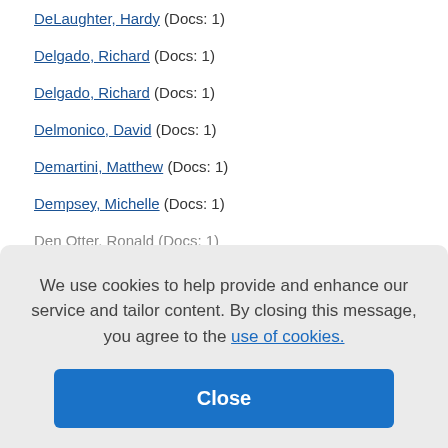DeLaughter, Hardy (Docs: 1)
Delgado, Richard (Docs: 1)
Delgado, Richard (Docs: 1)
Delmonico, David (Docs: 1)
Demartini, Matthew (Docs: 1)
Dempsey, Michelle (Docs: 1)
Den Otter, Ronald (Docs: 1)
We use cookies to help provide and enhance our service and tailor content. By closing this message, you agree to the use of cookies.